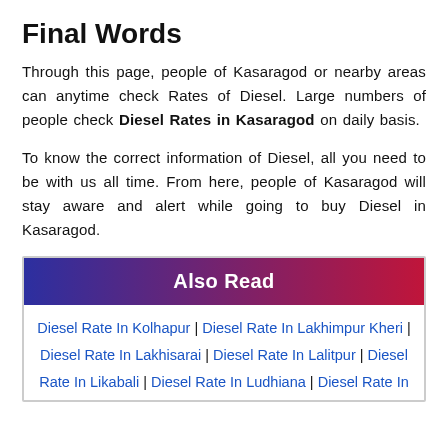Final Words
Through this page, people of Kasaragod or nearby areas can anytime check Rates of Diesel. Large numbers of people check Diesel Rates in Kasaragod on daily basis.
To know the correct information of Diesel, all you need to be with us all time. From here, people of Kasaragod will stay aware and alert while going to buy Diesel in Kasaragod.
Also Read
Diesel Rate In Kolhapur | Diesel Rate In Lakhimpur Kheri | Diesel Rate In Lakhisarai | Diesel Rate In Lalitpur | Diesel Rate In Likabali | Diesel Rate In Ludhiana | Diesel Rate In